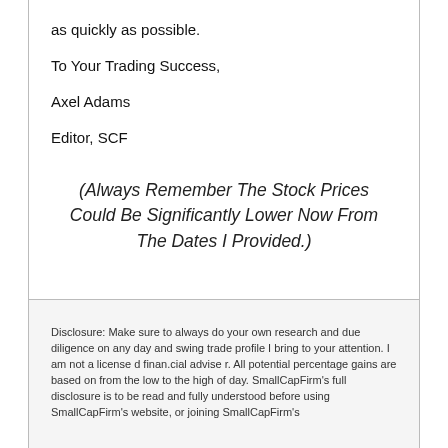as quickly as possible.
To Your Trading Success,
Axel Adams
Editor, SCF
(Always Remember The Stock Prices Could Be Significantly Lower Now From The Dates I Provided.)
Disclosure: Make sure to always do your own research and due diligence on any day and swing trade profile I bring to your attention. I am not a license d finan.cial advise r. All potential percentage gains are based on from the low to the high of day. SmallCapFirm's full disclosure is to be read and fully understood before using SmallCapFirm's website, or joining SmallCapFirm's